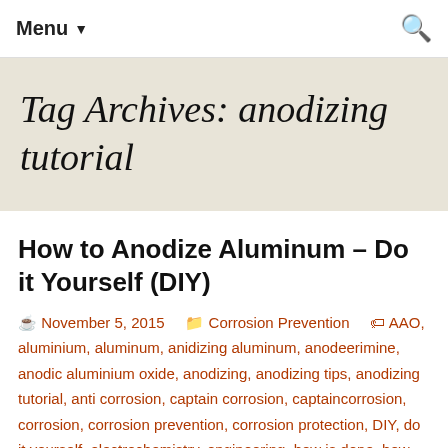Menu ▼
Tag Archives: anodizing tutorial
How to Anodize Aluminum – Do it Yourself (DIY)
November 5, 2015   Corrosion Prevention   AAO, aluminium, aluminum, anidizing aluminum, anodeerimine, anodic aluminium oxide, anodizing, anodizing tips, anodizing tutorial, anti corrosion, captain corrosion, captaincorrosion, corrosion, corrosion prevention, corrosion protection, DIY, do it yourself, electrochemistry, engineering, how is done, how to, how to anodize, how to anodize aluminum, Maido Merisalu